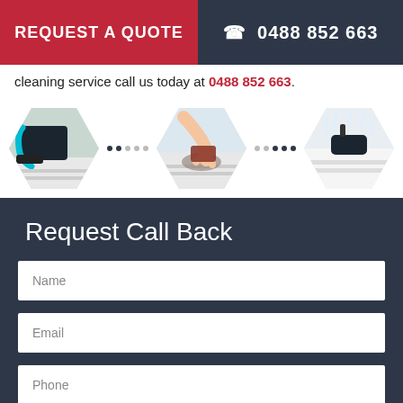REQUEST A QUOTE   ☎ 0488 852 663
cleaning service call us today at 0488 852 663.
[Figure (photo): Three hexagonal images showing mattress cleaning services: a vacuum on a mattress, a hand cleaning a mattress, and steam cleaning a mattress, with dotted connectors between them.]
Request Call Back
Name
Email
Phone